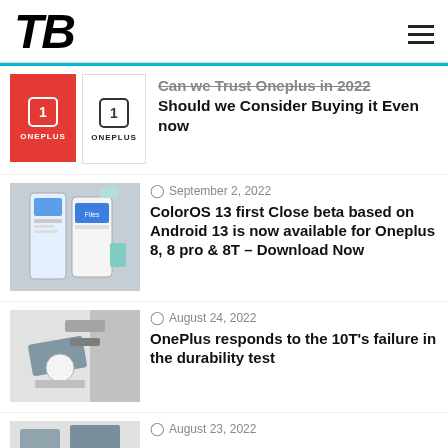TB
Can we Trust Oneplus in 2022 Should we Consider Buying it Even now
September 2, 2022
ColorOS 13 first Close beta based on Android 13 is now available for Oneplus 8, 8 pro & 8T – Download Now
August 24, 2022
OnePlus responds to the 10T's failure in the durability test
August 23, 2022